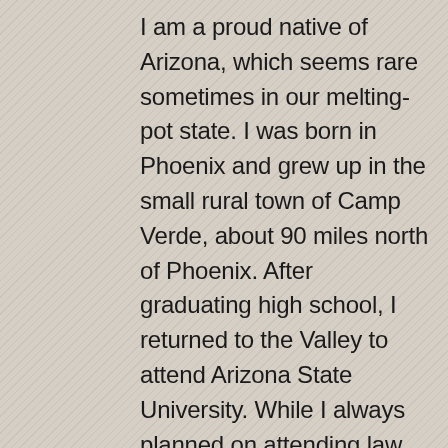I am a proud native of Arizona, which seems rare sometimes in our melting-pot state. I was born in Phoenix and grew up in the small rural town of Camp Verde, about 90 miles north of Phoenix. After graduating high school, I returned to the Valley to attend Arizona State University. While I always planned on attending law school, after graduating from ASU, I spent time in the business world. I gained experience in the logistics, telecommunications, and hospitality industries. After a few years, it was time to make my dream come true and attend law school. I am proud to call myself a Double Devil, having attended ASU for my Bachelor of Arts Degree and Juris Doctorate Degree. Most of my spare time is spent playing the